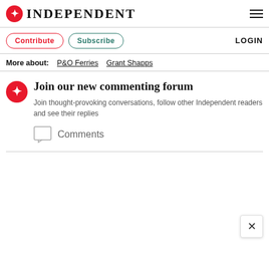INDEPENDENT
Contribute  Subscribe  LOGIN
More about:  P&O Ferries  Grant Shapps
Join our new commenting forum
Join thought-provoking conversations, follow other Independent readers and see their replies
Comments